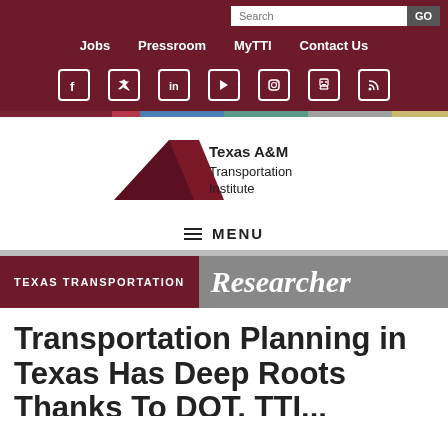Search  GO  Jobs  Pressroom  MyTTI  Contact Us
[Figure (logo): Texas A&M Transportation Institute logo with stylized road/arrow graphic]
≡ MENU
[Figure (infographic): Texas Transportation Researcher banner header]
Transportation Planning in Texas Has Deep Roots Thanks To DOT, TTI...